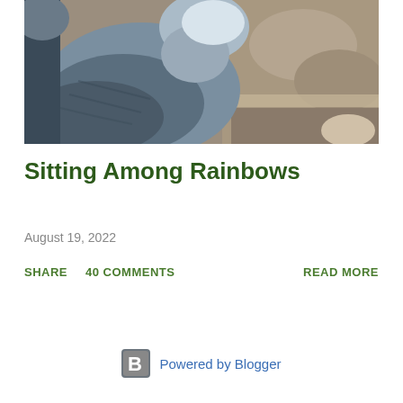[Figure (photo): Close-up photo of a grey/blue seagull or pigeon-like bird sitting on or near rocky ground. The bird is viewed from the side/back showing its grey-blue plumage. The background shows rough stone or concrete surface.]
Sitting Among Rainbows
August 19, 2022
SHARE   40 COMMENTS   READ MORE
Powered by Blogger